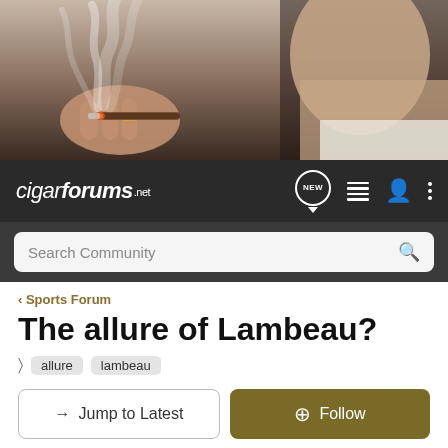[Figure (photo): Close-up photo of a man smoking a cigar with smoke rising, dark moody background]
cigarforums.net
Search Community
< Sports Forum
The allure of Lambeau?
allure  lambeau
→ Jump to Latest    ⊕ Follow
1 - 20 of 37 Posts    1 of 2  ▶